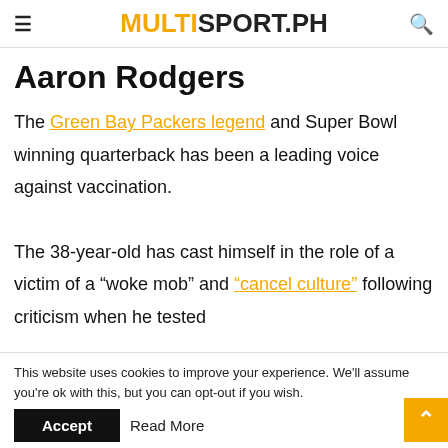MULTISPORT.PH
Aaron Rodgers
The Green Bay Packers legend and Super Bowl winning quarterback has been a leading voice against vaccination.
The 38-year-old has cast himself in the role of a victim of a “woke mob” and “cancel culture” following criticism when he tested
This website uses cookies to improve your experience. We’ll assume you’re ok with this, but you can opt-out if you wish.
Accept   Read More